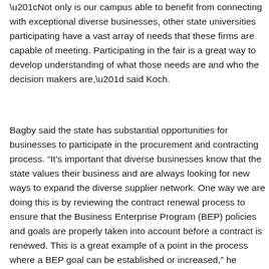“Not only is our campus able to benefit from connecting with exceptional diverse businesses, other state universities participating have a vast array of needs that these firms are capable of meeting. Participating in the fair is a great way to develop understanding of what those needs are and who the decision makers are,” said Koch.
Bagby said the state has substantial opportunities for businesses to participate in the procurement and contracting process. “It’s important that diverse businesses know that the state values their business and are always looking for new ways to expand the diverse supplier network. One way we are doing this is by reviewing the contract renewal process to ensure that the Business Enterprise Program (BEP) policies and goals are properly taken into account before a contract is renewed. This is a great example of a point in the process where a BEP goal can be established or increased,” he finished.